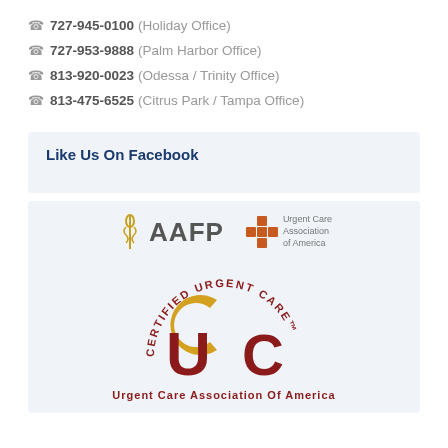727-945-0100 (Holiday Office)
727-953-9888 (Palm Harbor Office)
813-920-0023 (Odessa / Trinity Office)
813-475-6525 (Citrus Park / Tampa Office)
Like Us On Facebook
[Figure (logo): AAFP logo and Urgent Care Association of America logo side by side, followed by Certified Urgent Care UCC logo with text 'Urgent Care Association Of America']